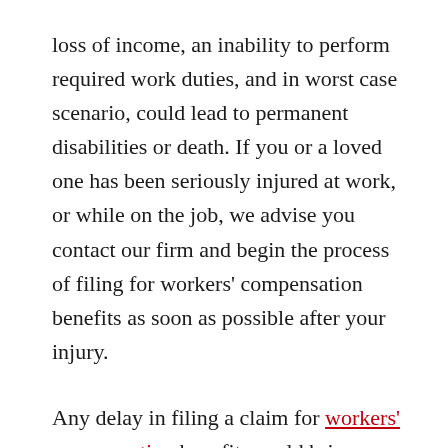loss of income, an inability to perform required work duties, and in worst case scenario, could lead to permanent disabilities or death. If you or a loved one has been seriously injured at work, or while on the job, we advise you contact our firm and begin the process of filing for workers' compensation benefits as soon as possible after your injury.
Any delay in filing a claim for workers' compensation benefits could bring about suspicions as to the validity of your claim, and could ultimately lead to your claim being denied by the insurance carrier. There are instances, however, when an individual's illness or injury has progressively